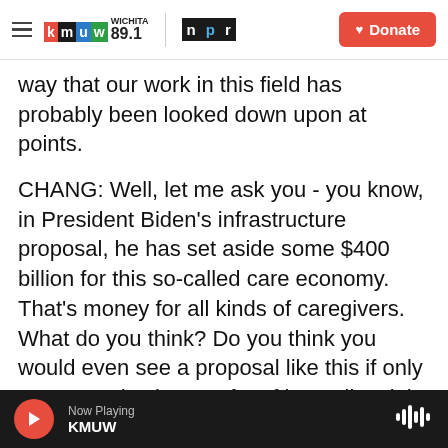KMUW WICHITA 89.1 | NPR | Donate
way that our work in this field has probably been looked down upon at points.
CHANG: Well, let me ask you - you know, in President Biden's infrastructure proposal, he has set aside some $400 billion for this so-called care economy. That's money for all kinds of caregivers. What do you think? Do you think you would even see a proposal like this if only men were in charge of crafting policy right now?
BOUSHEY: Well, I will start on this one.
CHANG: I hear some laughter.
Now Playing KMUW